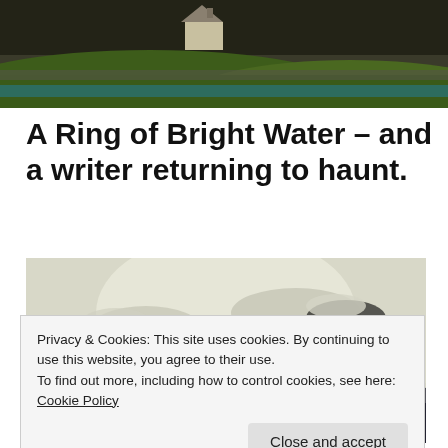[Figure (photo): Landscape photo header showing a cottage with green hills and dark sky]
A Ring of Bright Water – and a writer returning to haunt.
[Figure (photo): Moody landscape photo of mountains and cloudy sky with a loch/valley]
Privacy & Cookies: This site uses cookies. By continuing to use this website, you agree to their use.
To find out more, including how to control cookies, see here: Cookie Policy
Solitude